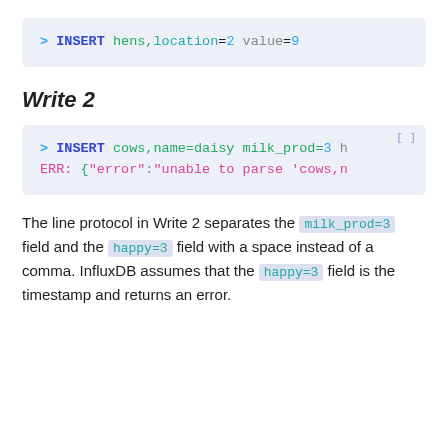[Figure (screenshot): Code block showing: > INSERT hens,location=2 value=9]
Write 2
[Figure (screenshot): Code block showing: > INSERT cows,name=daisy milk_prod=3 h
ERR: {"error":"unable to parse 'cows,n]
The line protocol in Write 2 separates the milk_prod=3 field and the happy=3 field with a space instead of a comma. InfluxDB assumes that the happy=3 field is the timestamp and returns an error.